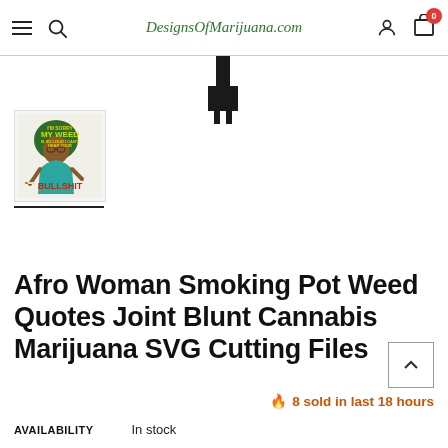DesignsOfMarijuana.com
[Figure (screenshot): Product image area showing a partial black silhouette cut shape at top center, and a thumbnail of an illustrated Black woman with afro hair holding a joint with colorful text reading I'M SORRY MY WEED IS SO LOUD I CAN'T HEAR YOUR BULLSHIT]
Afro Woman Smoking Pot Weed Quotes Joint Blunt Cannabis Marijuana SVG Cutting Files
🔥 8 sold in last 18 hours
AVAILABILITY    In stock